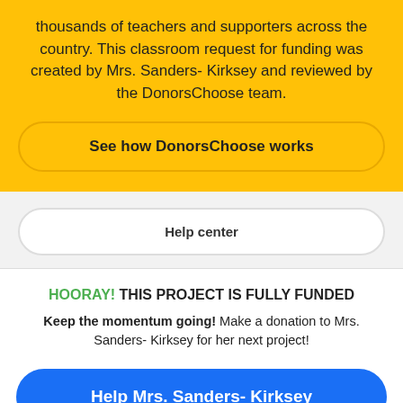thousands of teachers and supporters across the country. This classroom request for funding was created by Mrs. Sanders- Kirksey and reviewed by the DonorsChoose team.
See how DonorsChoose works
Help center
HOORAY! THIS PROJECT IS FULLY FUNDED
Keep the momentum going! Make a donation to Mrs. Sanders- Kirksey for her next project!
Help Mrs. Sanders- Kirksey